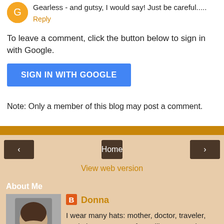Gearless - and gutsy, I would say! Just be careful.....
Reply
To leave a comment, click the button below to sign in with Google.
SIGN IN WITH GOOGLE
Note: Only a member of this blog may post a comment.
Home
View web version
About Me
Donna
I wear many hats: mother, doctor, traveler, cook, just to name a few. I like to experiment. I like to eat. I love